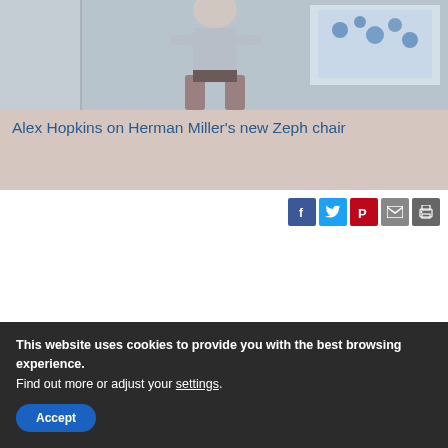[Figure (photo): Photo of a person (Alex Hopkins) standing, wearing a light blue shirt, with a colorful background painting/artwork. Below the photo is a pinkish-beige overlay with article title text.]
Alex Hopkins on Herman Miller's new Zeph chair
[Figure (infographic): Row of five social sharing buttons: Facebook (blue), Twitter (light blue), Pinterest (red), Email (grey), Print (dark grey)]
Conversation • 0
This website uses cookies to provide you with the best browsing experience.
Find out more or adjust your settings.